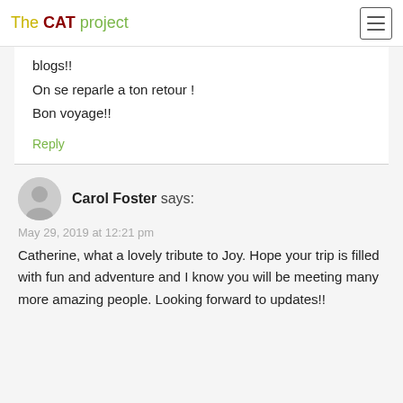The CAT project
blogs!!
On se reparle a ton retour !
Bon voyage!!
Reply
Carol Foster says:
May 29, 2019 at 12:21 pm
Catherine, what a lovely tribute to Joy. Hope your trip is filled with fun and adventure and I know you will be meeting many more amazing people. Looking forward to updates!!